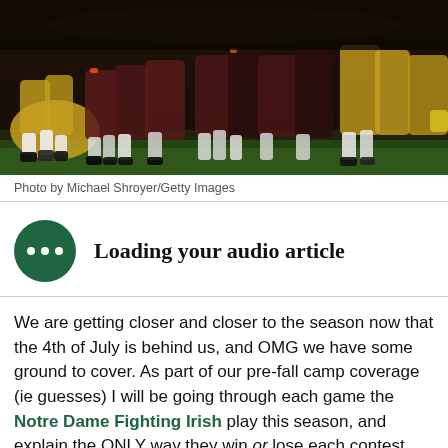[Figure (photo): Football players crouched at the line of scrimmage, shot from a low angle at night game. Teams in dark maroon/gold and yellow/white uniforms.]
Photo by Michael Shroyer/Getty Images
Loading your audio article
We are getting closer and closer to the season now that the 4th of July is behind us, and OMG we have some ground to cover. As part of our pre-fall camp coverage (ie guesses) I will be going through each game the Notre Dame Fighting Irish play this season, and explain the ONLY way they win or lose each contest. Whoever scores the most points you say?